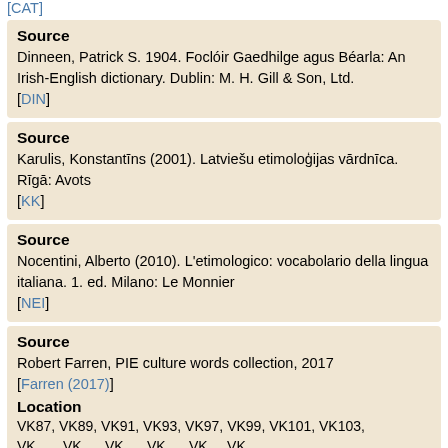[CAT]
Source
Dinneen, Patrick S. 1904. Foclóir Gaedhilge agus Béarla: An Irish-English dictionary. Dublin: M. H. Gill & Son, Ltd.
[DIN]
Source
Karulis, Konstantīns (2001). Latviešu etimoloģijas vārdnīca. Rīgā: Avots
[KK]
Source
Nocentini, Alberto (2010). L'etimologico: vocabolario della lingua italiana. 1. ed. Milano: Le Monnier
[NEI]
Source
Robert Farren, PIE culture words collection, 2017
[Farren (2017)]
Location
VK87, VK89, VK91, VK93, VK97, VK99, VK101, VK103,